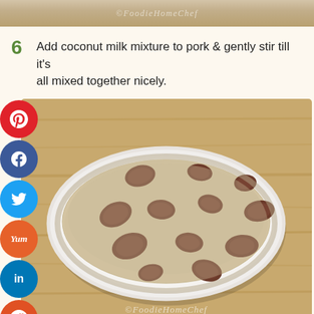[Figure (photo): Top strip showing partial food photo with watermark '@FoodieHomeChef']
6  Add coconut milk mixture to pork & gently stir till it's all mixed together nicely.
[Figure (photo): Photo of pork in creamy coconut milk sauce in a white oval baking dish on a wooden surface, with social sharing buttons (Pinterest, Facebook, Twitter, Yummly, LinkedIn, Reddit, WhatsApp) on the left side, and watermark '@FoodieHomeChef' at the bottom]